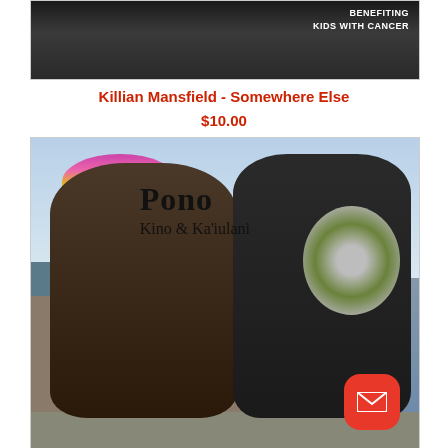[Figure (photo): Album cover image for 'Killian Mansfield - Somewhere Else' with text 'BENEFITING KIDS WITH CANCER' visible in upper right corner on a dark background]
Killian Mansfield - Somewhere Else
$10.00
[Figure (photo): Album cover photo for 'Pono' by Kino & Ka'iulani showing a woman with a floral lei crown and a man wearing a dark shirt with a flower lei, standing outdoors with a building in the background. Text overlay reads 'Pono' and 'Kino & Ka'iulani'.]